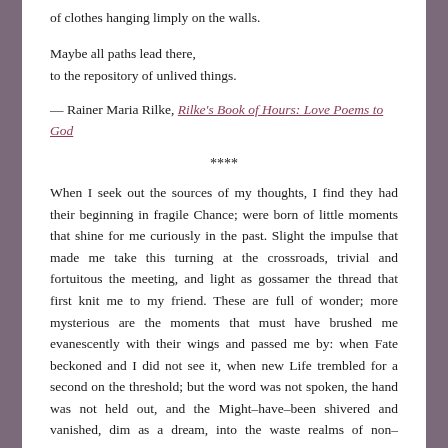of clothes hanging limply on the walls.
Maybe all paths lead there,
to the repository of unlived things.
— Rainer Maria Rilke, Rilke's Book of Hours: Love Poems to God
****
When I seek out the sources of my thoughts, I find they had their beginning in fragile Chance; were born of little moments that shine for me curiously in the past. Slight the impulse that made me take this turning at the crossroads, trivial and fortuitous the meeting, and light as gossamer the thread that first knit me to my friend. These are full of wonder; more mysterious are the moments that must have brushed me evanescently with their wings and passed me by: when Fate beckoned and I did not see it, when new Life trembled for a second on the threshold; but the word was not spoken, the hand was not held out, and the Might–have–been shivered and vanished, dim as a dream, into the waste realms of non–existence.